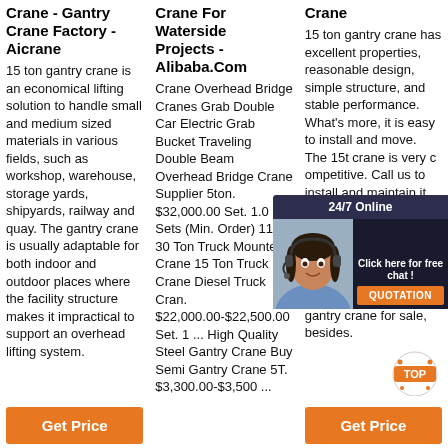Crane - Gantry Crane Factory - Aicrane
15 ton gantry crane is an economical lifting solution to handle small and medium sized materials in various fields, such as workshop, warehouse, storage yards, shipyards, railway and quay. The gantry crane is usually adaptable for both indoor and outdoor places where the facility structure makes it impractical to support an overhead lifting system.
Get Price
Crane For Waterside Projects - Alibaba.Com
Crane Overhead Bridge Cranes Grab Double Car Electric Grab Bucket Traveling Double Beam Overhead Bridge Crane Supplier 5ton. $32,000.00 Set. 1.0 Sets (Min. Order) 11 ... 30 Ton Truck Mounted Crane 15 Ton Truck Crane Diesel Truck Cran. $22,000.00-$22,500.00 Set. 1 ... High Quality Steel Gantry Crane Buy Semi Gantry Crane 5T. $3,300.00-$3,500 ...
Crane
15 ton gantry crane has excellent properties, reasonable design, simple structure, and stable performance. What's more, it is easy to install and move. The 15t crane is very competitive. Call us to install and maintain it. 15t gantry crane is widely used in construction, workshop, warehouse, shipyard, and garage, etc. We provide various 15-ton gantry crane for sale, besides.
Get Price
[Figure (photo): Customer service representative with headset, 24/7 Online chat overlay with QUOTATION button]